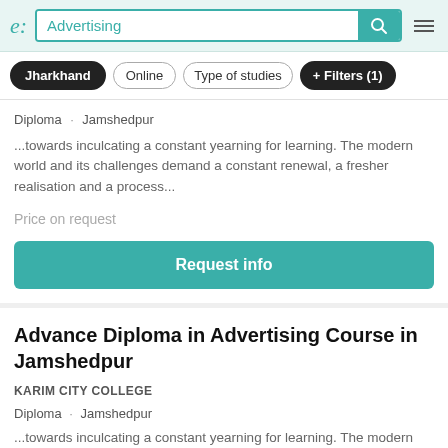e: Advertising [search bar with teal search button and hamburger menu]
Jharkhand
Online
Type of studies
+ Filters (1)
Diploma · Jamshedpur
...towards inculcating a constant yearning for learning. The modern world and its challenges demand a constant renewal, a fresher realisation and a process...
Price on request
Request info
Advance Diploma in Advertising Course in Jamshedpur
KARIM CITY COLLEGE
Diploma · Jamshedpur
...towards inculcating a constant yearning for learning. The modern world and its challenges demand a constant renewal, a fresher realisation and a process...